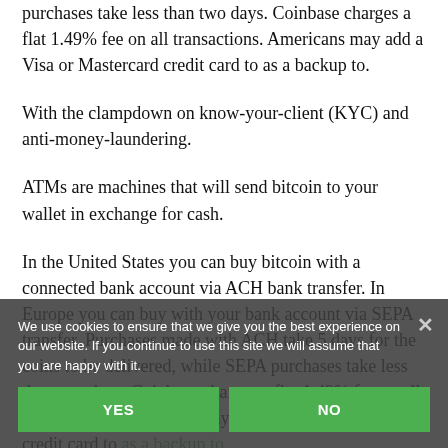purchases take less than two days. Coinbase charges a flat 1.49% fee on all transactions. Americans may add a Visa or Mastercard credit card to as a backup to.
With the clampdown on know-your-client (KYC) and anti-money-laundering.
ATMs are machines that will send bitcoin to your wallet in exchange for cash.
In the United States you can buy bitcoin with a connected bank account via ACH bank transfer. In Europe you can buy with your bank account via SEPA transfer. Purchases made with ACH take 5 days for the coins to be delivered, while SEPA purchases take less than two days. Coinbase charges a flat 1.49% fee on all transactions. Americans may add a Visa or Mastercard credit card to as a backup to.
Buy bitcoins with Cash Deposit to Bank at Paxful: it's easy,
We use cookies to ensure that we give you the best experience on our website. If you continue to use this site we will assume that you are happy with it.